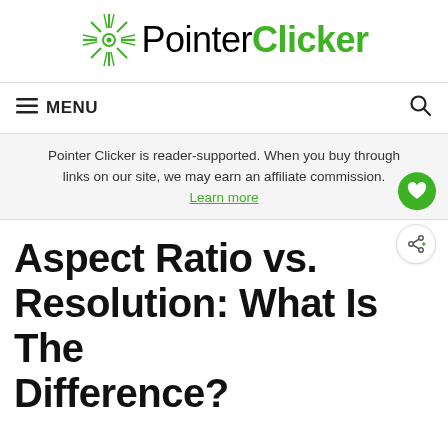[Figure (logo): PointerClicker logo with green starburst icon above the text. 'Pointer' in black, 'Clicker' in bold green.]
☰ MENU  🔍
Pointer Clicker is reader-supported. When you buy through links on our site, we may earn an affiliate commission. Learn more
Aspect Ratio vs. Resolution: What Is The Difference?